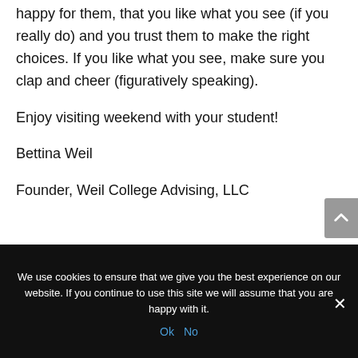steps into independence. Show that you are happy for them, that you like what you see (if you really do) and you trust them to make the right choices. If you like what you see, make sure you clap and cheer (figuratively speaking).
Enjoy visiting weekend with your student!
Bettina Weil
Founder, Weil College Advising, LLC
We use cookies to ensure that we give you the best experience on our website. If you continue to use this site we will assume that you are happy with it.